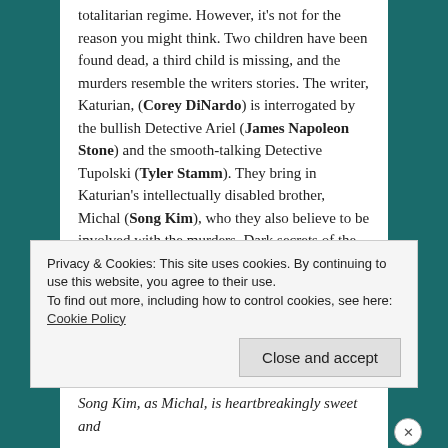totalitarian regime. However, it's not for the reason you might think. Two children have been found dead, a third child is missing, and the murders resemble the writers stories. The writer, Katurian, (Corey DiNardo) is interrogated by the bullish Detective Ariel (James Napoleon Stone) and the smooth-talking Detective Tupolski (Tyler Stamm). They bring in Katurian's intellectually disabled brother, Michal (Song Kim), who they also believe to be involved with the murders. Dark secrets of the present and past are brought to light as Katurian fights to save the only things he's ever been proud of: his stories.
Theatre Coup d'Etat's production, directed by Rich Remedios, finds its strength in it's actors. The cast...
Song Kim, as Michal, is heartbreakingly sweet and
Privacy & Cookies: This site uses cookies. By continuing to use this website, you agree to their use.
To find out more, including how to control cookies, see here: Cookie Policy